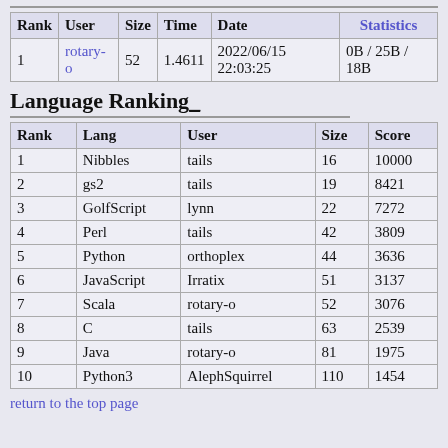| Rank | User | Size | Time | Date | Statistics |
| --- | --- | --- | --- | --- | --- |
| 1 | rotary-o | 52 | 1.4611 | 2022/06/15 22:03:25 | 0B / 25B / 18B |
Language Ranking_
| Rank | Lang | User | Size | Score |
| --- | --- | --- | --- | --- |
| 1 | Nibbles | tails | 16 | 10000 |
| 2 | gs2 | tails | 19 | 8421 |
| 3 | GolfScript | lynn | 22 | 7272 |
| 4 | Perl | tails | 42 | 3809 |
| 5 | Python | orthoplex | 44 | 3636 |
| 6 | JavaScript | Irratix | 51 | 3137 |
| 7 | Scala | rotary-o | 52 | 3076 |
| 8 | C | tails | 63 | 2539 |
| 9 | Java | rotary-o | 81 | 1975 |
| 10 | Python3 | AlephSquirrel | 110 | 1454 |
return to the top page